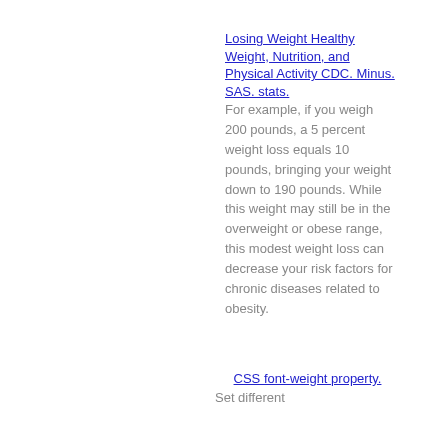Losing Weight Healthy Weight, Nutrition, and Physical Activity CDC. Minus. SAS. stats.
For example, if you weigh 200 pounds, a 5 percent weight loss equals 10 pounds, bringing your weight down to 190 pounds. While this weight may still be in the overweight or obese range, this modest weight loss can decrease your risk factors for chronic diseases related to obesity.
CSS font-weight property.
Set different